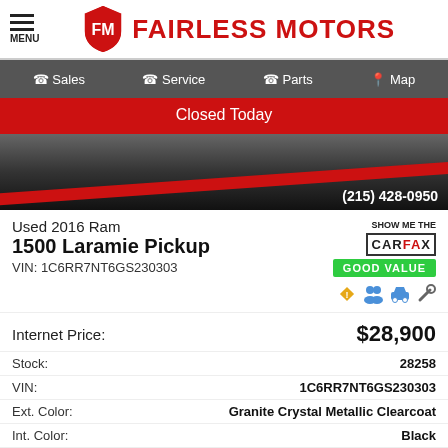MENU / FAIRLESS MOTORS
Sales | Service | Parts | Map
Closed Today
[Figure (photo): Close-up of a dark truck with a red stripe and the dealership phone number (215) 428-0950]
Used 2016 Ram 1500 Laramie Pickup
VIN: 1C6RR7NT6GS230303
[Figure (logo): SHOW ME THE CARFAX - GOOD VALUE badge with icons]
Internet Price: $28,900
| Field | Value |
| --- | --- |
| Stock: | 28258 |
| VIN: | 1C6RR7NT6GS230303 |
| Ext. Color: | Granite Crystal Metallic Clearcoat |
| Int. Color: | Black |
| Transmission: | Automatic |
| Mileage: | 96,425 |
| Drivetrain: | 4WD |